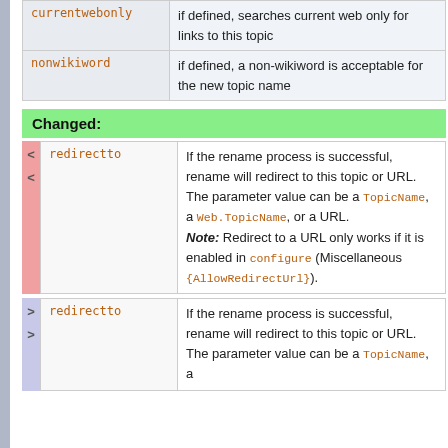| Parameter | Description |
| --- | --- |
| currentwebonly | if defined, searches current web only for links to this topic |
| nonwikiword | if defined, a non-wikiword is acceptable for the new topic name |
Changed:
| Parameter | Description |
| --- | --- |
| redirectto | If the rename process is successful, rename will redirect to this topic or URL. The parameter value can be a TopicName, a Web.TopicName, or a URL. Note: Redirect to a URL only works if it is enabled in configure (Miscellaneous {AllowRedirectUrl}). |
| Parameter | Description |
| --- | --- |
| redirectto | If the rename process is successful, rename will redirect to this topic or URL. The parameter value can be a TopicName, a |